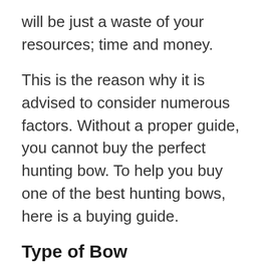will be just a waste of your resources; time and money.
This is the reason why it is advised to consider numerous factors. Without a proper guide, you cannot buy the perfect hunting bow. To help you buy one of the best hunting bows, here is a buying guide.
Type of Bow
The first factor that you have to consider is the type of bow you must